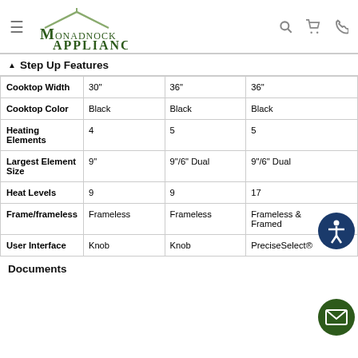Monadnock Appliance
▲ Step Up Features
|  | 30" | 36" | 36" |
| --- | --- | --- | --- |
| Cooktop Width | 30" | 36" | 36" |
| Cooktop Color | Black | Black | Black |
| Heating Elements | 4 | 5 | 5 |
| Largest Element Size | 9" | 9"/6" Dual | 9"/6" Dual |
| Heat Levels | 9 | 9 | 17 |
| Frame/frameless | Frameless | Frameless | Frameless & Framed |
| User Interface | Knob | Knob | PreciseSelect® |
Documents